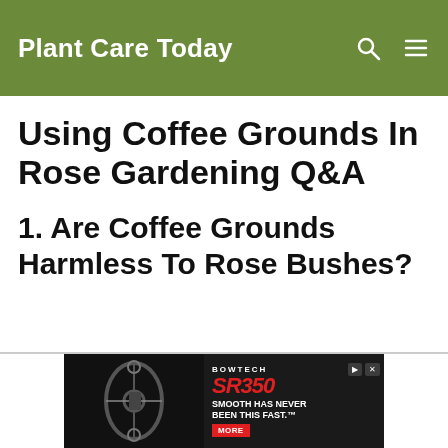Plant Care Today
Using Coffee Grounds In Rose Gardening Q&A
1. Are Coffee Grounds Harmless To Rose Bushes?
[Figure (other): Advertisement banner for Bowtech SR350 bow. Text reads: BOWTECH, SR350, SMOOTH HAS NEVER BEEN THIS FAST. with a MORE button. Shows image of a compound bow on the left.]